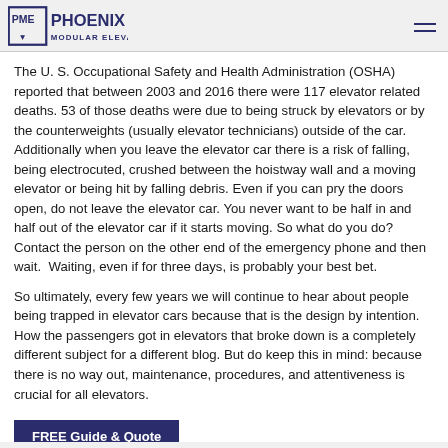PHOENIX MODULAR ELEVATOR
The U. S. Occupational Safety and Health Administration (OSHA) reported that between 2003 and 2016 there were 117 elevator related deaths. 53 of those deaths were due to being struck by elevators or by the counterweights (usually elevator technicians) outside of the car.  Additionally when you leave the elevator car there is a risk of falling, being electrocuted, crushed between the hoistway wall and a moving elevator or being hit by falling debris. Even if you can pry the doors open, do not leave the elevator car. You never want to be half in and half out of the elevator car if it starts moving. So what do you do? Contact the person on the other end of the emergency phone and then wait.  Waiting, even if for three days, is probably your best bet.
So ultimately, every few years we will continue to hear about people being trapped in elevator cars because that is the design by intention. How the passengers got in elevators that broke down is a completely different subject for a different blog. But do keep this in mind: because there is no way out, maintenance, procedures, and attentiveness is crucial for all elevators.
[Figure (other): Dark blue CTA bar at the bottom partially visible]